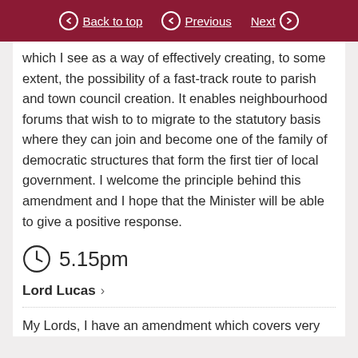Back to top  Previous  Next
which I see as a way of effectively creating, to some extent, the possibility of a fast-track route to parish and town council creation. It enables neighbourhood forums that wish to to migrate to the statutory basis where they can join and become one of the family of democratic structures that form the first tier of local government. I welcome the principle behind this amendment and I hope that the Minister will be able to give a positive response.
5.15pm
Lord Lucas
My Lords, I have an amendment which covers very